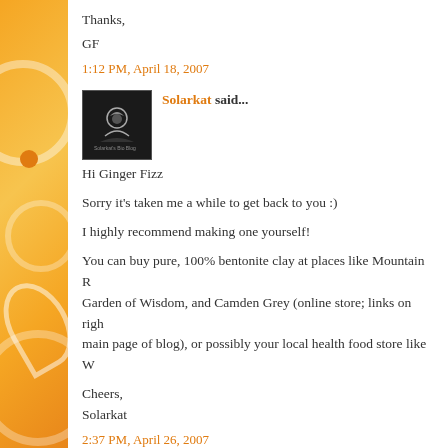Thanks,

GF
1:12 PM, April 18, 2007
Solarkat said...

Hi Ginger Fizz

Sorry it's taken me a while to get back to you :)

I highly recommend making one yourself!

You can buy pure, 100% bentonite clay at places like Mountain R... Garden of Wisdom, and Camden Grey (online store; links on righ... main page of blog), or possibly your local health food store like W...

Cheers,
Solarkat
2:37 PM, April 26, 2007
Post a Comment